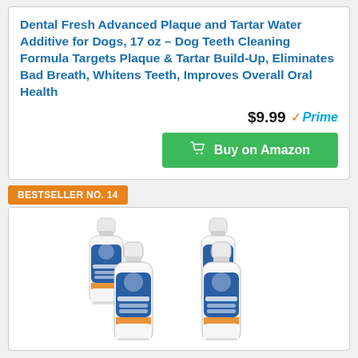Dental Fresh Advanced Plaque and Tartar Water Additive for Dogs, 17 oz – Dog Teeth Cleaning Formula Targets Plaque & Tartar Build-Up, Eliminates Bad Breath, Whitens Teeth, Improves Overall Oral Health
$9.99 Prime
Buy on Amazon
BESTSELLER NO. 14
[Figure (photo): Four bottles of dog dental plaque and tartar treatment product arranged in a group]